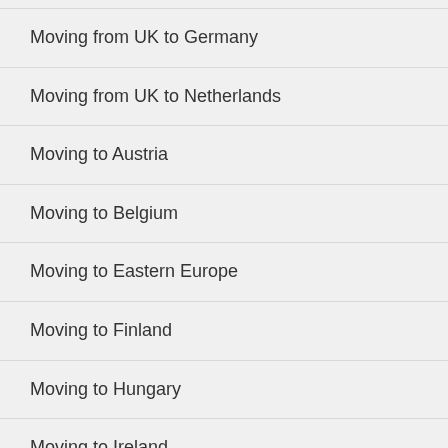Moving from UK to Germany
Moving from UK to Netherlands
Moving to Austria
Moving to Belgium
Moving to Eastern Europe
Moving to Finland
Moving to Hungary
Moving to Ireland